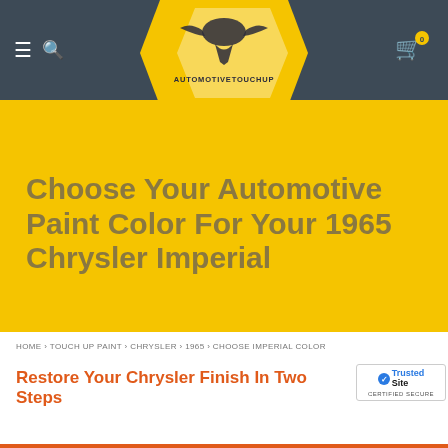[Figure (logo): AutomotiveTouchup logo with winged bird mascot on yellow chevron background in dark grey navigation header]
Choose Your Automotive Paint Color For Your 1965 Chrysler Imperial
HOME › TOUCH UP PAINT › CHRYSLER › 1965 › CHOOSE IMPERIAL COLOR
Restore Your Chrysler Finish In Two Steps
[Figure (logo): TrustedSite Certified Secure badge]